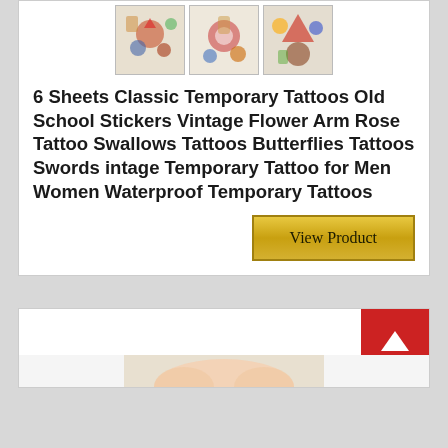[Figure (photo): Three thumbnail images of temporary tattoo sheets showing classic/vintage tattoo designs including skulls, flowers, and holiday characters]
6 Sheets Classic Temporary Tattoos Old School Stickers Vintage Flower Arm Rose Tattoo Swallows Tattoos Butterflies Tattoos Swords intage Temporary Tattoo for Men Women Waterproof Temporary Tattoos
View Product
[Figure (photo): Partial view of product listing card with back-to-top button and bottom cropped image]